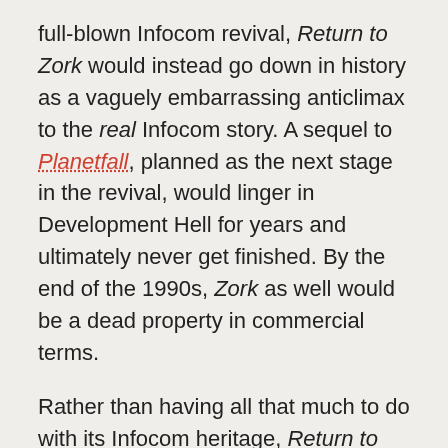full-blown Infocom revival, Return to Zork would instead go down in history as a vaguely embarrassing anticlimax to the real Infocom story. A sequel to Planetfall, planned as the next stage in the revival, would linger in Development Hell for years and ultimately never get finished. By the end of the 1990s, Zork as well would be a dead property in commercial terms.
Rather than having all that much to do with its Infocom heritage, Return to Zork's enormous commercial success came down to its catching the technological zeitgeist at just the right instant, joining Sherlock Holmes Consulting Detective, The 7th Guest, and Myst as the perfect flashy showpieces for CD-ROM. Its success conveyed all the wrong messages to game publishers like Activision: that multimedia glitz was everything, and that design really didn't matter at all.